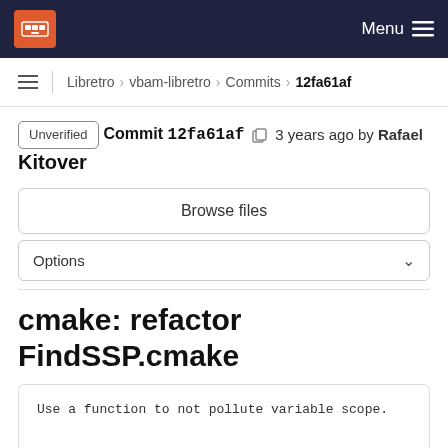Libretro navigation bar with Menu
Libretro > vbam-libretro > Commits > 12fa61af
Unverified  Commit 12fa61af  3 years ago by Rafael Kitover
Browse files
Options
cmake: refactor FindSSP.cmake
Use a function to not pollute variable scope.

Use modern style.
Signed-off-by: Rafael Kitover <rkitover@gmail.com